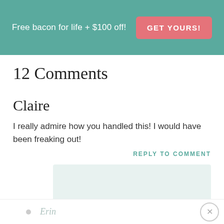Free bacon for life + $100 off! GET YOURS!
12 Comments
Claire
I really admire how you handled this! I would have been freaking out!
REPLY TO COMMENT
Erin